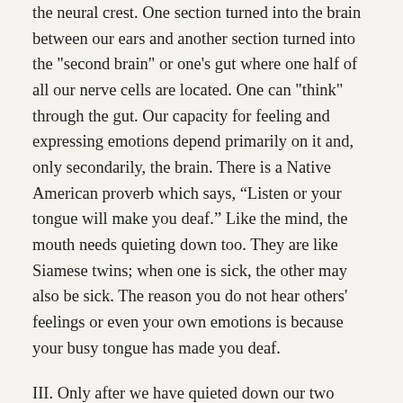the neural crest. One section turned into the brain between our ears and another section turned into the "second brain" or one's gut where one half of all our nerve cells are located. One can "think" through the gut. Our capacity for feeling and expressing emotions depend primarily on it and, only secondarily, the brain. There is a Native American proverb which says, “Listen or your tongue will make you deaf.” Like the mind, the mouth needs quieting down too. They are like Siamese twins; when one is sick, the other may also be sick. The reason you do not hear others' feelings or even your own emotions is because your busy tongue has made you deaf.
III. Only after we have quieted down our two brains that we can move into the third innermost circle– the heart. The opening words of the Rule of St Benedict says, “Listen with the ear of the heart.” What does it mean to listen with the ear of the heart? Once, I got a feedback from one of my silent